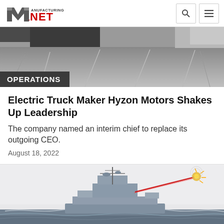Manufacturing.net
[Figure (photo): Aerial or runway view showing road/tarmac surface with lane markings, dark vehicle partially visible at top]
OPERATIONS
Electric Truck Maker Hyzon Motors Shakes Up Leadership
The company named an interim chief to replace its outgoing CEO.
August 18, 2022
[Figure (photo): Illustration of a naval destroyer ship firing a laser weapon at a drone/target, with a red laser beam visible against a light sky, ocean water below]